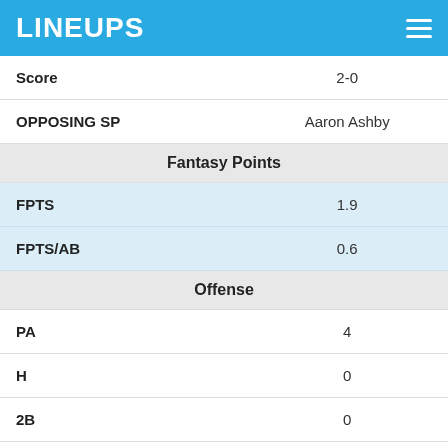LINEUPS
| Field | Value |
| --- | --- |
| Score | 2-0 |
| OPPOSING SP | Aaron Ashby |
| Fantasy Points |  |
| FPTS | 1.9 |
| FPTS/AB | 0.6 |
| Offense |  |
| PA | 4 |
| H | 0 |
| 2B | 0 |
| 3B | 0 |
| HR | 0 |
| R | 0 |